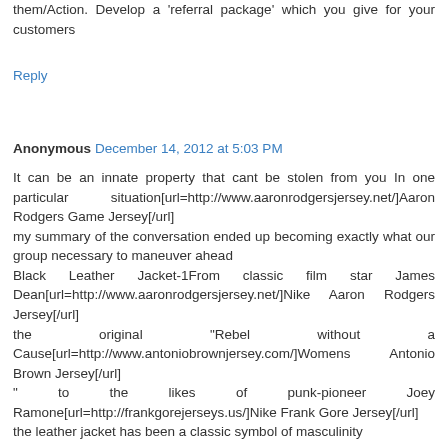them/Action. Develop a 'referral package' which you give for your customers
Reply
Anonymous  December 14, 2012 at 5:03 PM
It can be an innate property that cant be stolen from you In one particular situation[url=http://www.aaronrodgersjersey.net/]Aaron Rodgers Game Jersey[/url]
my summary of the conversation ended up becoming exactly what our group necessary to maneuver ahead
Black Leather Jacket-1From classic film star James Dean[url=http://www.aaronrodgersjersey.net/]Nike Aaron Rodgers Jersey[/url]
the original "Rebel without a Cause[url=http://www.antoniobrownjersey.com/]Womens Antonio Brown Jersey[/url]
" to the likes of punk-pioneer Joey Ramone[url=http://frankgorejerseys.us/]Nike Frank Gore Jersey[/url]
the leather jacket has been a classic symbol of masculinity